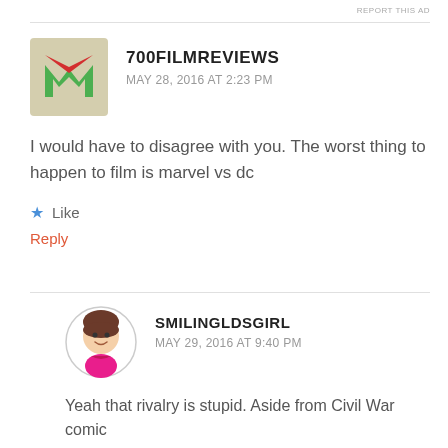REPORT THIS AD
[Figure (logo): 700FilmReviews logo: green M-shaped icon with red chevron on tan/olive background]
700FILMREVIEWS
MAY 28, 2016 AT 2:23 PM
I would have to disagree with you. The worst thing to happen to film is marvel vs dc
Like
Reply
[Figure (illustration): Circular avatar of animated cartoon girl with brown hair, pink top]
SMILINGLDSGIRL
MAY 29, 2016 AT 9:40 PM
Yeah that rivalry is stupid. Aside from Civil War comic